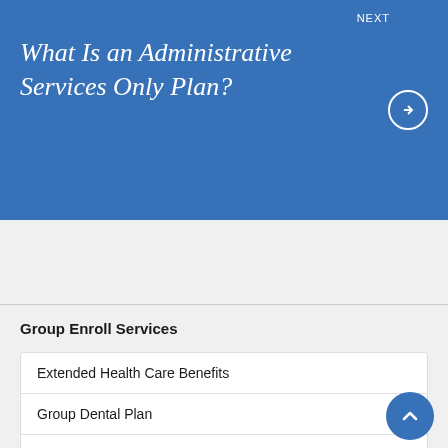What Is an Administrative Services Only Plan?
Group Enroll Services
Extended Health Care Benefits
Group Dental Plan
Group Life Plan
Group Disability Plan
Group Retirement Plan
HCSA